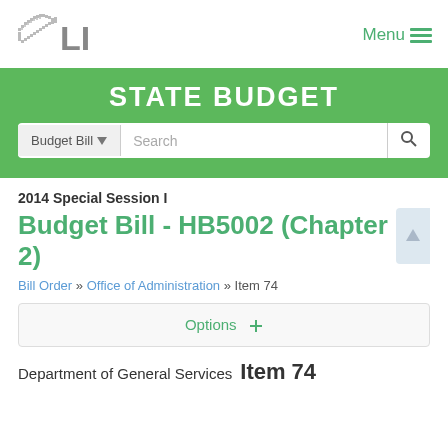[Figure (logo): LIS Virginia logo with state outline and 'LIS' text]
Menu ≡
STATE BUDGET
2014 Special Session I
Budget Bill - HB5002 (Chapter 2)
Bill Order » Office of Administration » Item 74
Options +
Department of General Services
Item 74